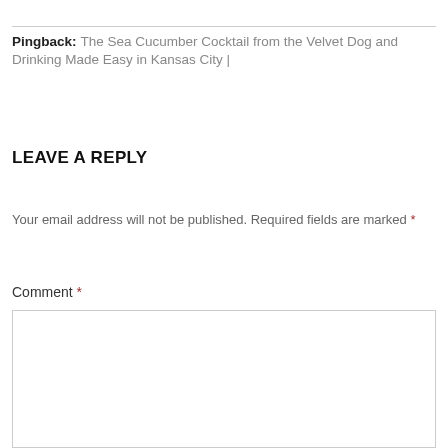Pingback: The Sea Cucumber Cocktail from the Velvet Dog and Drinking Made Easy in Kansas City |
LEAVE A REPLY
Your email address will not be published. Required fields are marked *
Comment *